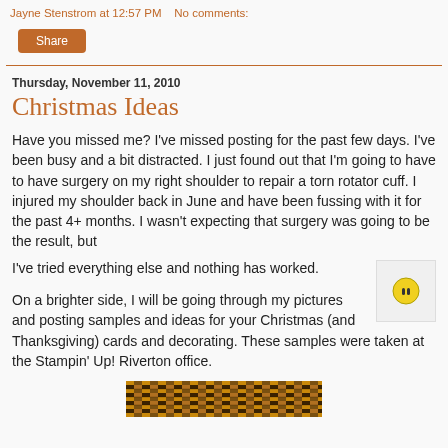Jayne Stenstrom at 12:57 PM   No comments:
Share
Thursday, November 11, 2010
Christmas Ideas
Have you missed me? I've missed posting for the past few days. I've been busy and a bit distracted. I just found out that I'm going to have to have surgery on my right shoulder to repair a torn rotator cuff. I injured my shoulder back in June and have been fussing with it for the past 4+ months. I wasn't expecting that surgery was going to be the result, but

I've tried everything else and nothing has worked.
On a brighter side, I will be going through my pictures and posting samples and ideas for your Christmas (and Thanksgiving) cards and decorating. These samples were taken at the Stampin' Up! Riverton office.
[Figure (photo): Decorative woven/weave pattern image in brown and gold tones]